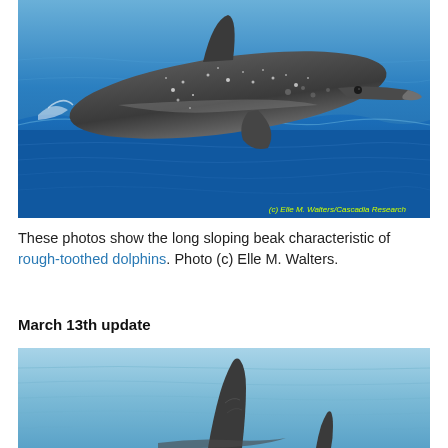[Figure (photo): A rough-toothed dolphin leaping partially out of deep blue ocean water, showing its long sloping beak and gray body with water droplets splashing. Watermark reads: (c) Elle M. Walters/Cascadia Research]
These photos show the long sloping beak characteristic of rough-toothed dolphins. Photo (c) Elle M. Walters.
March 13th update
[Figure (photo): Close-up photo of rough-toothed dolphin dorsal fins above calm light-blue water, with two fins visible — one large and one smaller.]